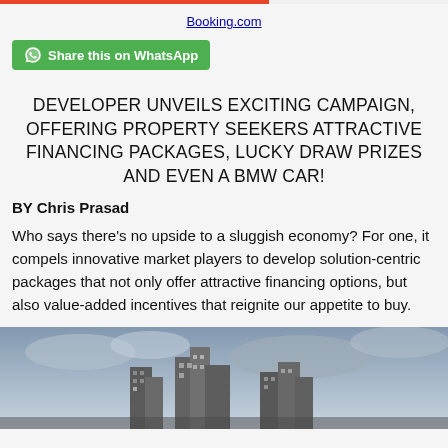Booking.com
Share this on WhatsApp
DEVELOPER UNVEILS EXCITING CAMPAIGN, OFFERING PROPERTY SEEKERS ATTRACTIVE FINANCING PACKAGES, LUCKY DRAW PRIZES AND EVEN A BMW CAR!
BY Chris Prasad
Who says there’s no upside to a sluggish economy? For one, it compels innovative market players to develop solution-centric packages that not only offer attractive financing options, but also value-added incentives that reignite our appetite to buy.
[Figure (photo): Photograph of urban apartment buildings against a cloudy sky]